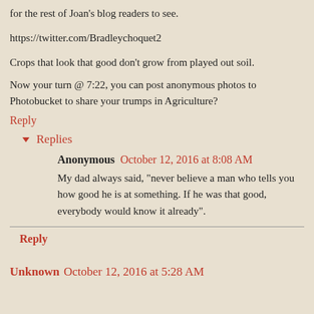for the rest of Joan's blog readers to see.
https://twitter.com/Bradleychoquet2
Crops that look that good don't grow from played out soil.
Now your turn @ 7:22, you can post anonymous photos to Photobucket to share your trumps in Agriculture?
Reply
▾ Replies
Anonymous October 12, 2016 at 8:08 AM
My dad always said, "never believe a man who tells you how good he is at something. If he was that good, everybody would know it already".
Reply
Unknown October 12, 2016 at 5:28 AM